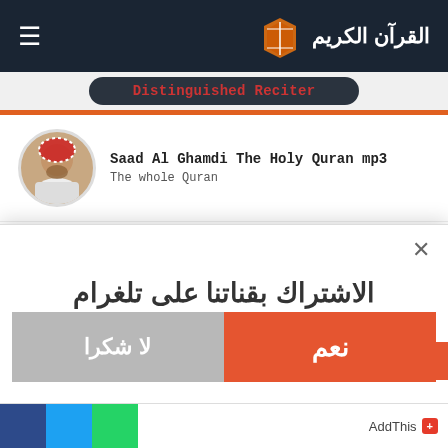القرآن الكريم
Distinguished Reciter
Saad Al Ghamdi The Holy Quran mp3
The whole Quran
Sheikh Abdul Basit Abdul Samad
الاشتراك بقناتنا على تلغرام
نعم
لا شكرا
AddThis